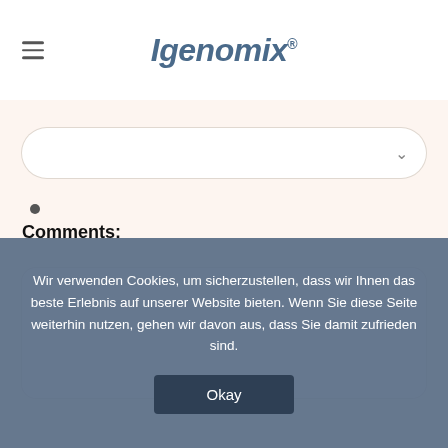[Figure (logo): Igenomix logo with hamburger menu icon on left]
[Figure (screenshot): Dropdown select input field with chevron arrow]
•
Comments:
[Figure (screenshot): Empty comments text area input field]
Wir verwenden Cookies, um sicherzustellen, dass wir Ihnen das beste Erlebnis auf unserer Website bieten. Wenn Sie diese Seite weiterhin nutzen, gehen wir davon aus, dass Sie damit zufrieden sind.
Okay